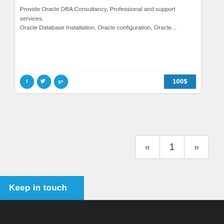Provide Oracle DBA Consultancy, Professional and support services, Oracle Database Installation, Oracle configuration, Oracle...
[Figure (other): Social sharing buttons: Facebook (f), Twitter bird icon, Google+ (g+) — all circular blue buttons]
100$
« 1 »
Keep in touch